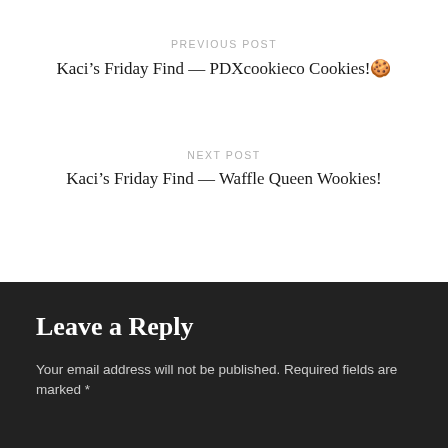PREVIOUS POST
Kaci's Friday Find — PDXcookieco Cookies! 🍪
NEXT POST
Kaci's Friday Find — Waffle Queen Wookies!
Leave a Reply
Your email address will not be published. Required fields are marked *